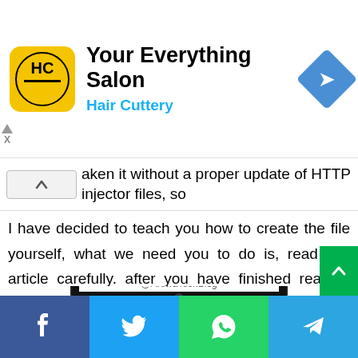[Figure (infographic): Advertisement banner for Hair Cuttery salon showing logo, title 'Your Everything Salon', subtitle 'Hair Cuttery', and a blue diamond navigation icon]
aken it without a proper update of HTTP injector files, so I have decided to teach you how to create the file yourself, what we need you to do is, read this article carefully. after you have finished reading and watch the video at the end
[Figure (screenshot): Screenshot of a phone showing the HTTP Injector Ehi 2017 app with the HTTP INJECTOR EHI FILES branding and @ArewaTechBlog watermark]
[Figure (infographic): Social share buttons bar at the bottom: Facebook (blue), Twitter (light blue), WhatsApp (green), Telegram (blue)]